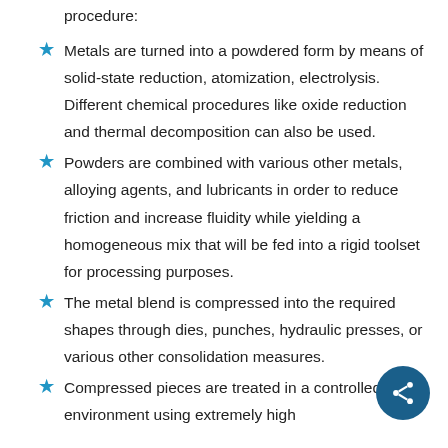procedure:
Metals are turned into a powdered form by means of solid-state reduction, atomization, electrolysis. Different chemical procedures like oxide reduction and thermal decomposition can also be used.
Powders are combined with various other metals, alloying agents, and lubricants in order to reduce friction and increase fluidity while yielding a homogeneous mix that will be fed into a rigid toolset for processing purposes.
The metal blend is compressed into the required shapes through dies, punches, hydraulic presses, or various other consolidation measures.
Compressed pieces are treated in a controlled environment using extremely high